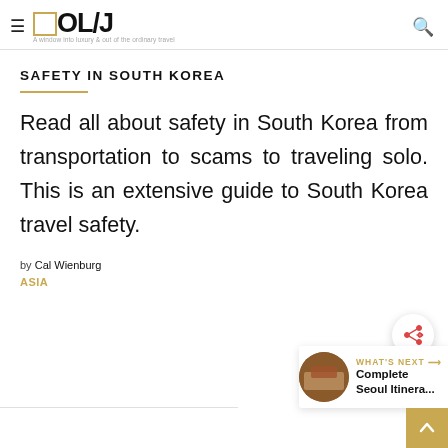OL/J — A window into luxury & out of the ordinary travel
SAFETY IN SOUTH KOREA
Read all about safety in South Korea from transportation to scams to traveling solo. This is an extensive guide to South Korea travel safety.
by Cal Wienburg
ASIA